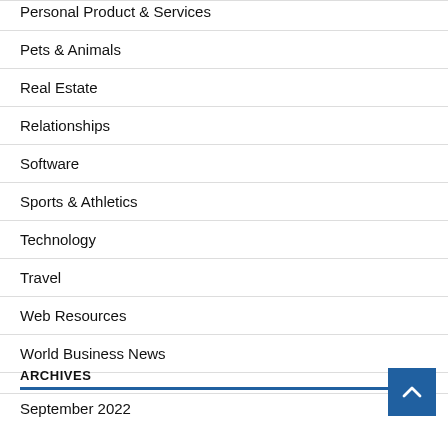Personal Product & Services
Pets & Animals
Real Estate
Relationships
Software
Sports & Athletics
Technology
Travel
Web Resources
World Business News
ARCHIVES
September 2022